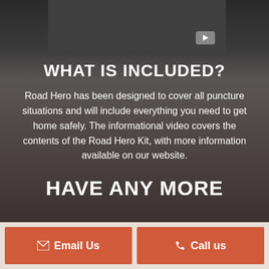[Figure (screenshot): Partial video player box with dark gray background and play button in upper portion of page]
WHAT IS INCLUDED?
Road Hero has been designed to cover all puncture situations and will include everything you need to get home safely. The informational video covers the contents of the Road Hero Kit, with more information available on our website.
HAVE ANY MORE
Email Us
Call us